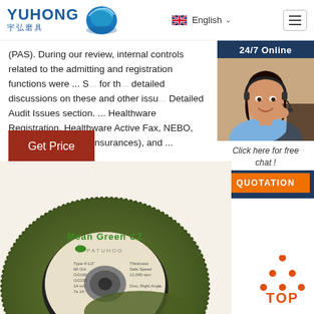YUHONG 宇弘磨具 — header with English language selector and hamburger menu
(PAS). During our review, internal controls related to the admitting and registration functions were ... S... for th... detailed discussions on these and other issu... Detailed Audit Issues section. ... Healthware Registration, Healthware Active Fax, NEBO, (web-site for NEBO insurances), and ...
[Figure (infographic): 24/7 Online chat widget with photo of woman with headset, 'Click here for free chat!' text, and QUOTATION button]
Get Price
[Figure (photo): Close-up photo of green abrasive grinding disc labeled 'Mean Green CZ']
[Figure (logo): TOP badge with orange triangle dots and red TOP text]